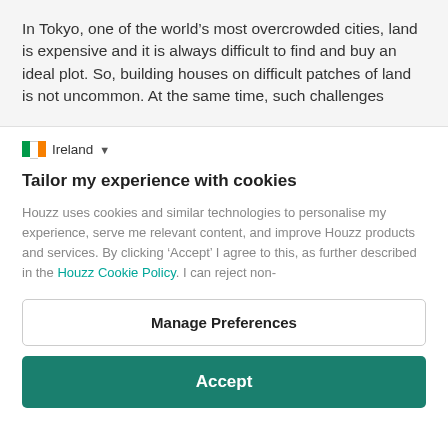In Tokyo, one of the world's most overcrowded cities, land is expensive and it is always difficult to find and buy an ideal plot. So, building houses on difficult patches of land is not uncommon. At the same time, such challenges
Ireland ▾
Tailor my experience with cookies
Houzz uses cookies and similar technologies to personalise my experience, serve me relevant content, and improve Houzz products and services. By clicking 'Accept' I agree to this, as further described in the Houzz Cookie Policy. I can reject non-
Manage Preferences
Accept